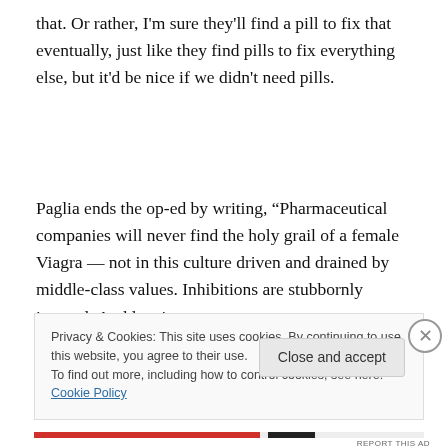that. Or rather, I'm sure they'll find a pill to fix that eventually, just like they find pills to fix everything else, but it'd be nice if we didn't need pills.
Paglia ends the op-ed by writing, “Pharmaceutical companies will never find the holy grail of a female Viagra — not in this culture driven and drained by middle-class values. Inhibitions are stubbornly internal. And lust is too
Privacy & Cookies: This site uses cookies. By continuing to use this website, you agree to their use.
To find out more, including how to control cookies, see here: Cookie Policy